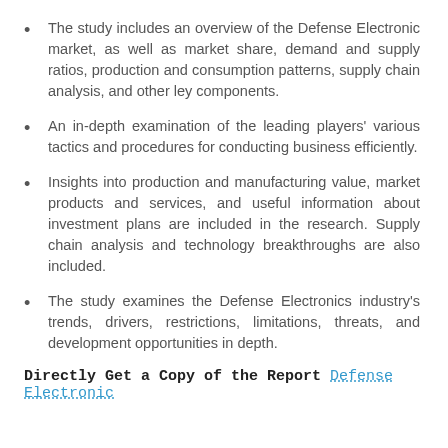The study includes an overview of the Defense Electronic market, as well as market share, demand and supply ratios, production and consumption patterns, supply chain analysis, and other ley components.
An in-depth examination of the leading players' various tactics and procedures for conducting business efficiently.
Insights into production and manufacturing value, market products and services, and useful information about investment plans are included in the research. Supply chain analysis and technology breakthroughs are also included.
The study examines the Defense Electronics industry's trends, drivers, restrictions, limitations, threats, and development opportunities in depth.
Directly Get a Copy of the Report Defense Electronic